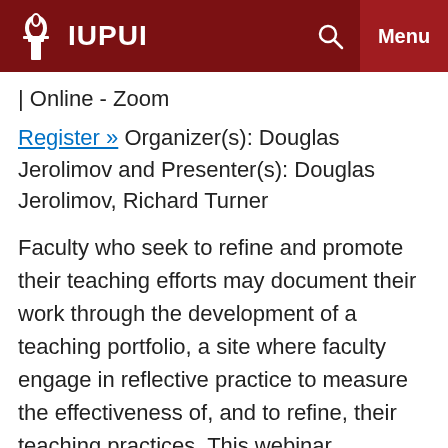IUPUI | Menu
| Online - Zoom
Register » Organizer(s): Douglas Jerolimov and Presenter(s): Douglas Jerolimov, Richard Turner
Faculty who seek to refine and promote their teaching efforts may document their work through the development of a teaching portfolio, a site where faculty engage in reflective practice to measure the effectiveness of, and to refine, their teaching practices. This webinar introduces faculty to the teaching portfolio and to the several